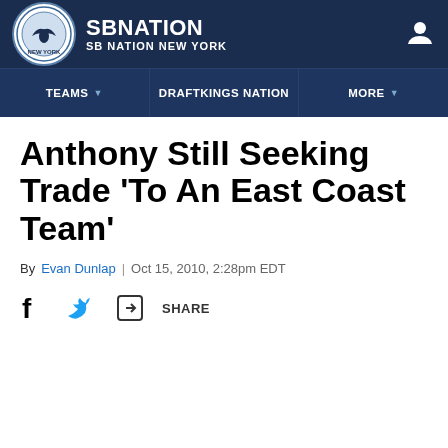[Figure (logo): SB Nation New York site header with circular logo, SB NATION text, and SB NATION NEW YORK subtitle on dark navy background]
TEAMS | DRAFTKINGS NATION | MORE
Anthony Still Seeking Trade 'To An East Coast Team'
By Evan Dunlap | Oct 15, 2010, 2:28pm EDT
SHARE